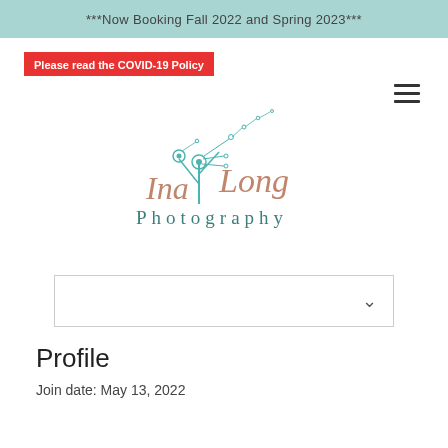***Now Booking Fall 2022 and Spring 2023***
Please read the COVID-19 Policy
[Figure (logo): Ina Long Photography logo with dandelion illustration in teal and script text in rose gold]
Profile
Join date: May 13, 2022